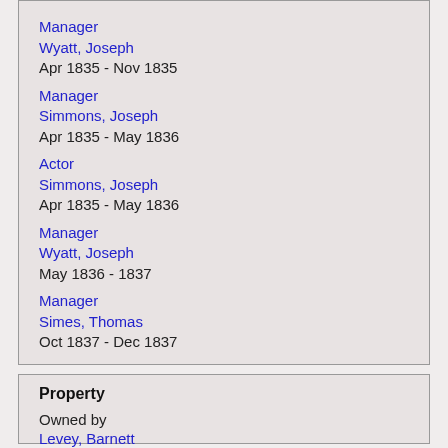Manager
Wyatt, Joseph
Apr 1835 - Nov 1835
Manager
Simmons, Joseph
Apr 1835 - May 1836
Actor
Simmons, Joseph
Apr 1835 - May 1836
Manager
Wyatt, Joseph
May 1836 - 1837
Manager
Simes, Thomas
Oct 1837 - Dec 1837
Property
Owned by
Levey, Barnett
1829 - 02 Oct 1837